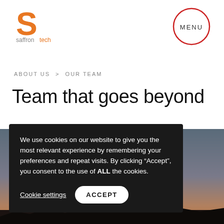[Figure (logo): Saffrontech logo: orange S letter above text 'saffrontech' in grey/orange]
[Figure (other): MENU button as red circle outline with text MENU inside]
ABOUT US > OUR TEAM
Team that goes beyond
[Figure (photo): Sunset/dusk sky with silhouetted landscape at bottom, orange and grey tones]
We use cookies on our website to give you the most relevant experience by remembering your preferences and repeat visits. By clicking “Accept”, you consent to the use of ALL the cookies.
Cookie settings
ACCEPT